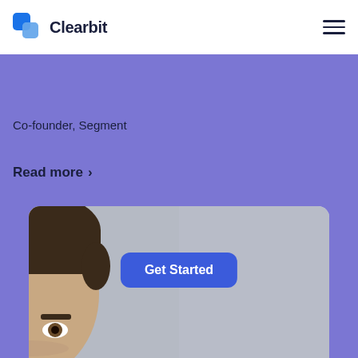[Figure (logo): Clearbit logo — blue layered square icon with text 'Clearbit']
Co-founder, Segment
Read more >
[Figure (photo): Photo of a man's face (forehead and eyes visible) with a blue 'Get Started' button overlaid on his forehead, shown in a rounded card at the bottom of the page]